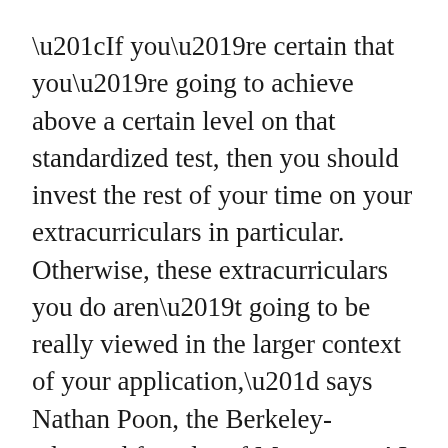“If you’re certain that you’re going to achieve above a certain level on that standardized test, then you should invest the rest of your time on your extracurriculars in particular. Otherwise, these extracurriculars you do aren’t going to be really viewed in the larger context of your application,” says Nathan Poon, the Berkeley-educated founder of Myntor, an AI that helps students achieve higher SAT, ACT, and AP scores with less study time and less effort. This week: